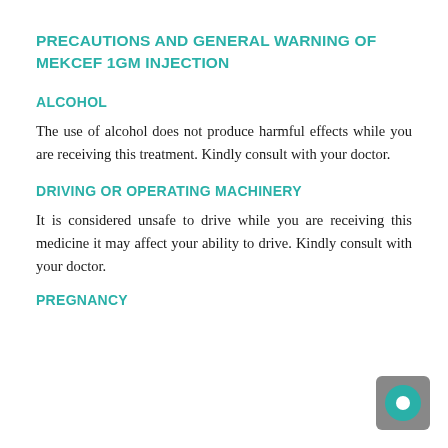PRECAUTIONS AND GENERAL WARNING OF MEKCEF 1GM INJECTION
ALCOHOL
The use of alcohol does not produce harmful effects while you are receiving this treatment. Kindly consult with your doctor.
DRIVING OR OPERATING MACHINERY
It is considered unsafe to drive while you are receiving this medicine it may affect your ability to drive. Kindly consult with your doctor.
PREGNANCY